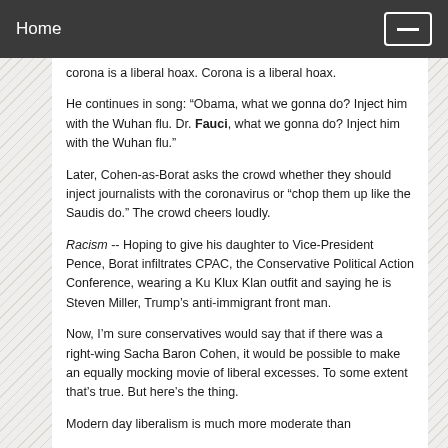Home
corona is a liberal hoax. Corona is a liberal hoax.
He continues in song: “Obama, what we gonna do? Inject him with the Wuhan flu. Dr. Fauci, what we gonna do? Inject him with the Wuhan flu.”
Later, Cohen-as-Borat asks the crowd whether they should inject journalists with the coronavirus or “chop them up like the Saudis do.” The crowd cheers loudly.
Racism -- Hoping to give his daughter to Vice-President Pence, Borat infiltrates CPAC, the Conservative Political Action Conference, wearing a Ku Klux Klan outfit and saying he is Steven Miller, Trump’s anti-immigrant front man.
Now, I’m sure conservatives would say that if there was a right-wing Sacha Baron Cohen, it would be possible to make an equally mocking movie of liberal excesses. To some extent that’s true. But here’s the thing.
Modern day liberalism is much more moderate than